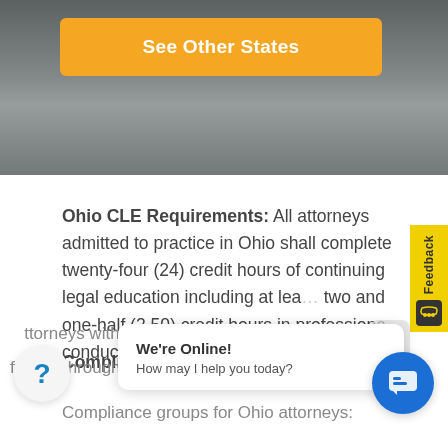[Figure (photo): Hero background image of a city skyline near water, partially visible behind a yellow button]
See Other States
Ohio CLE Requirements: All attorneys admitted to practice in Ohio shall complete twenty-four (24) credit hours of continuing legal education including at least two and one-half (2.50) credit hours in professional conduct.
Compliance Deadline: December 31
Compliance groups for Ohio attorneys:
…ttorneys with last… …le…
from A through L must complete the educational